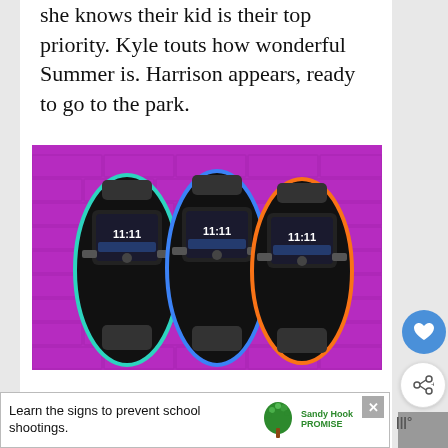she knows their kid is their top priority. Kyle touts how wonderful Summer is. Harrison appears, ready to go to the park.
[Figure (photo): Advertisement image showing three black fitness tracker smartwatches with colored borders (teal, blue, orange) against a purple brick wall background, with FITNUS logo below on white background.]
[Figure (infographic): Bottom banner advertisement: 'Learn the signs to prevent school shootings.' with Sandy Hook Promise tree logo.]